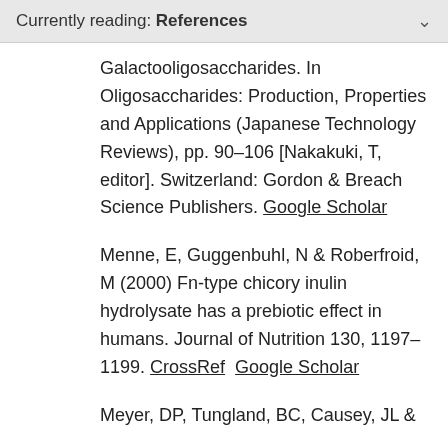Currently reading: References
Galactooligosaccharides. In Oligosaccharides: Production, Properties and Applications (Japanese Technology Reviews), pp. 90–106 [Nakakuki, T, editor]. Switzerland: Gordon & Breach Science Publishers. Google Scholar
Menne, E, Guggenbuhl, N & Roberfroid, M (2000) Fn-type chicory inulin hydrolysate has a prebiotic effect in humans. Journal of Nutrition 130, 1197–1199. CrossRef  Google Scholar
Meyer, DP, Tungland, BC, Causey, JL &